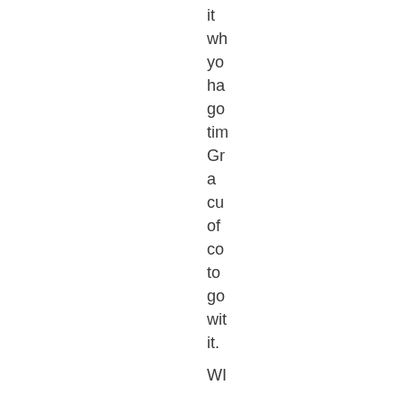it
wh
yo
ha
go
tim
Gr
a
cu
of
co
to
go
wit
it.

WI